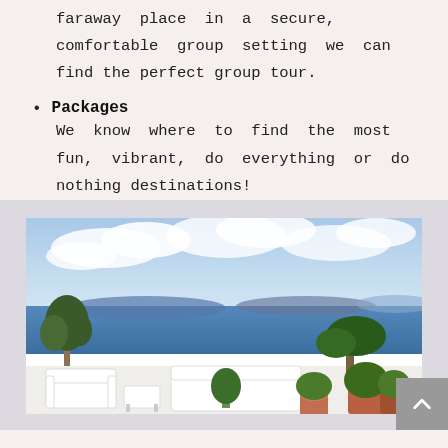faraway place in a secure, comfortable group setting we can find the perfect group tour.
Packages
We know where to find the most fun, vibrant, do everything or do nothing destinations!
[Figure (photo): A scenic view of a Mediterranean terrace with white outdoor furniture, potted plants and trees, overlooking a blue sea with islands in the distance under a partly cloudy sky.]